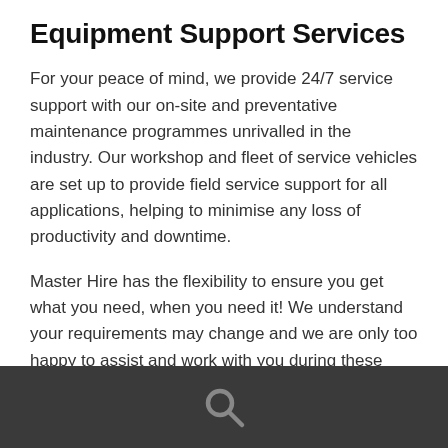Equipment Support Services
For your peace of mind, we provide 24/7 service support with our on-site and preventative maintenance programmes unrivalled in the industry. Our workshop and fleet of service vehicles are set up to provide field service support for all applications, helping to minimise any loss of productivity and downtime.
Master Hire has the flexibility to ensure you get what you need, when you need it! We understand your requirements may change and we are only too happy to assist and work with you during these times. Our fleet of delivery vehicles covers our service areas daily to ensure your needs are fulfilled at the earliest opportunity.
[Figure (other): Dark footer bar with a search icon (magnifying glass) centered in it]